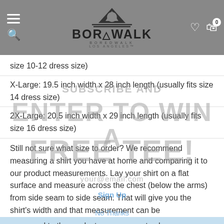[Figure (logo): Boredwalk Los Angeles logo with mountain graphic and horizontal lines, displayed in navigation bar]
size 10-12 dress size)
X-Large: 19.5 inch width x 28 inch length (usually fits size 14 dress size)
2X-Large: 20.5 inch width x 29 inch length (usually fits size 16 dress size)
Still not sure what size to order? We recommend measuring a shirt you have at home and comparing it to our product measurements. Lay your shirt on a flat surface and measure across the chest (below the arms) from side seam to side seam. That will give you the shirt's width and that measurement can be compared to the product measurements above.
What do you get when you shop Boredwalk?